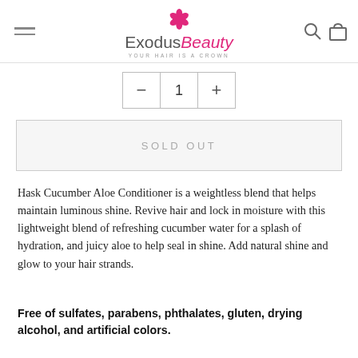ExodusBeauty — YOUR HAIR IS A CROWN
— 1 +
SOLD OUT
Hask Cucumber Aloe Conditioner is a weightless blend that helps maintain luminous shine. Revive hair and lock in moisture with this lightweight blend of refreshing cucumber water for a splash of hydration, and juicy aloe to help seal in shine. Add natural shine and glow to your hair strands.
Free of sulfates, parabens, phthalates, gluten, drying alcohol, and artificial colors.